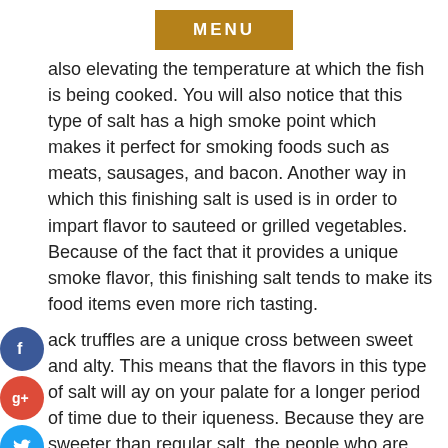MENU
also elevating the temperature at which the fish is being cooked. You will also notice that this type of salt has a high smoke point which makes it perfect for smoking foods such as meats, sausages, and bacon. Another way in which this finishing salt is used is in order to impart flavor to sauteed or grilled vegetables. Because of the fact that it provides a unique smoke flavor, this finishing salt tends to make its food items even more rich tasting.
lack truffles are a unique cross between sweet and alty. This means that the flavors in this type of salt will ay on your palate for a longer period of time due to their iqueness. Because they are sweeter than regular salt, the people who are eating them are not necessarily expecting a salty taste. This makes them a perfect addition to spicy foods and can even help to enhance the